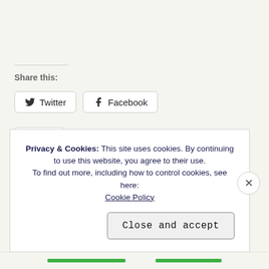Share this:
Twitter
Facebook
Like
Be the first to like this.
Privacy & Cookies: This site uses cookies. By continuing to use this website, you agree to their use. To find out more, including how to control cookies, see here: Cookie Policy
Close and accept